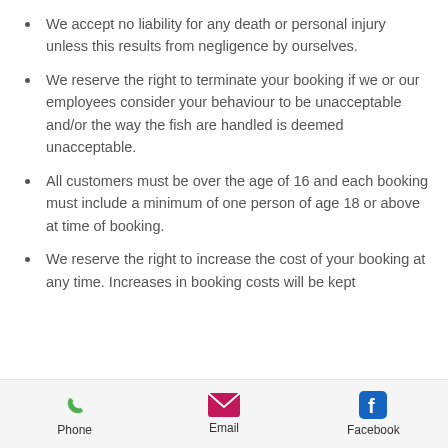We accept no liability for any death or personal injury unless this results from negligence by ourselves.
We reserve the right to terminate your booking if we or our employees consider your behaviour to be unacceptable and/or the way the fish are handled is deemed unacceptable.
All customers must be over the age of 16 and each booking must include a minimum of one person of age 18 or above at time of booking.
We reserve the right to increase the cost of your booking at any time. Increases in booking costs will be kept
Phone  Email  Facebook